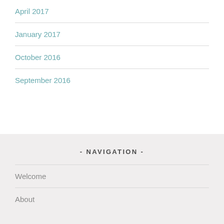April 2017
January 2017
October 2016
September 2016
- NAVIGATION -
Welcome
About